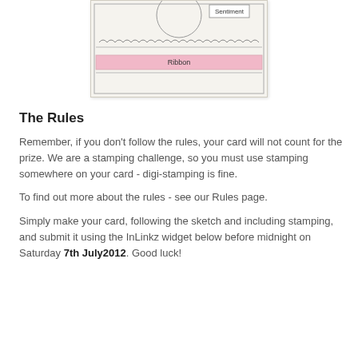[Figure (illustration): A hand-drawn card sketch showing a circle element labeled 'Sentiment' at top right, a scalloped border, and a pink ribbon band labeled 'Ribbon' across the lower portion of the card.]
The Rules
Remember, if you don't follow the rules, your card will not count for the prize. We are a stamping challenge, so you must use stamping somewhere on your card - digi-stamping is fine.
To find out more about the rules - see our Rules page.
Simply make your card, following the sketch and including stamping, and submit it using the InLinkz widget below before midnight on Saturday 7th July2012. Good luck!